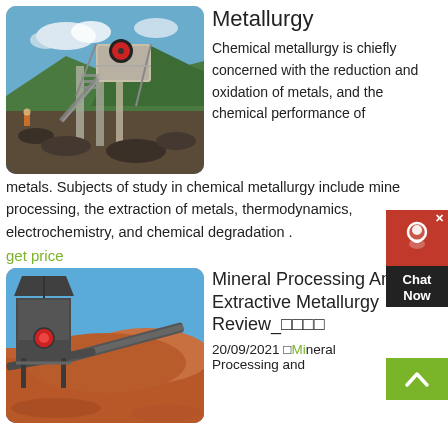[Figure (photo): Industrial mineral processing equipment / crusher on a mining site with blue sky and mountains in background]
Metallurgy
Chemical metallurgy is chiefly concerned with the reduction and oxidation of metals, and the chemical performance of metals. Subjects of study in chemical metallurgy include mine processing, the extraction of metals, thermodynamics, electrochemistry, and chemical degradation .
get price
[Figure (photo): Industrial mineral processing and extractive metallurgy equipment on a red soil mining site with conveyor belts]
Mineral Processing And Extractive Metallurgy Review_□□□□
20/09/2021 □Mineral Processing and